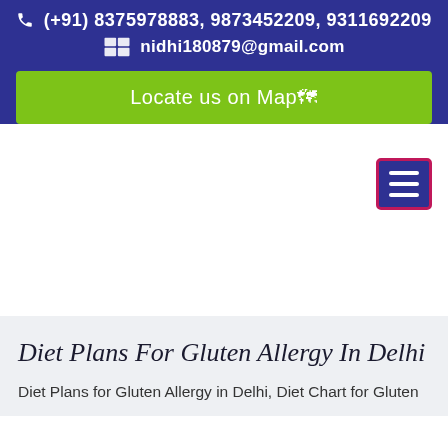📞 (+91) 8375978883, 9873452209, 9311692209
✉ nidhi180879@gmail.com
Locate us on Map🗺
[Figure (other): Hamburger menu navigation button with three horizontal white lines on dark blue background with pink border]
Diet Plans For Gluten Allergy In Delhi
Diet Plans for Gluten Allergy in Delhi, Diet Chart for Gluten